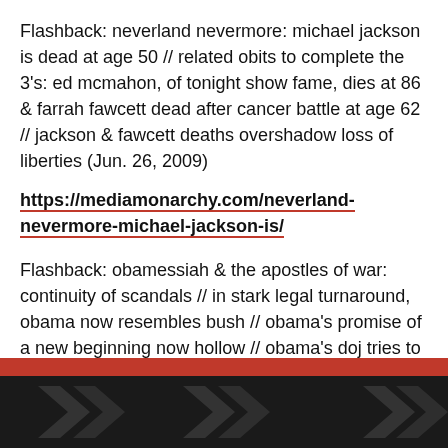Flashback: neverland nevermore: michael jackson is dead at age 50 // related obits to complete the 3's: ed mcmahon, of tonight show fame, dies at 86 & farrah fawcett dead after cancer battle at age 62 // jackson & fawcett deaths overshadow loss of liberties (Jun. 26, 2009)
https://mediamonarchy.com/neverland-nevermore-michael-jackson-is/
Flashback: obamessiah & the apostles of war: continuity of scandals // in stark legal turnaround, obama now resembles bush // obama's promise of a new beginning now hollow // obama's doj tries to stop geronimo lawsuit against skull & bones // house panel approves bill expanding oversight of nsa // the left gatekeepers & tax exempt
[Figure (other): Dark footer area with red divider bar and dark grey chevron/arrow shapes on black background]